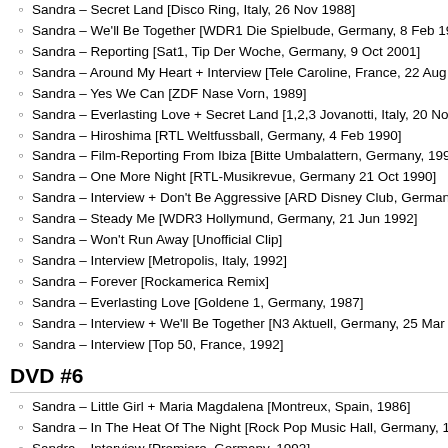Sandra – Secret Land [Disco Ring, Italy, 26 Nov 1988]
Sandra – We'll Be Together [WDR1 Die Spielbude, Germany, 8 Feb 1989]
Sandra – Reporting [Sat1, Tip Der Woche, Germany, 9 Oct 2001]
Sandra – Around My Heart + Interview [Tele Caroline, France, 22 Aug 1989]
Sandra – Yes We Can [ZDF Nase Vorn, 1989]
Sandra – Everlasting Love + Secret Land [1,2,3 Jovanotti, Italy, 20 Nov 1988]
Sandra – Hiroshima [RTL Weltfussball, Germany, 4 Feb 1990]
Sandra – Film-Reporting From Ibiza [Bitte Umbalattern, Germany, 1992]
Sandra – One More Night [RTL-Musikrevue, Germany 21 Oct 1990]
Sandra – Interview + Don't Be Aggressive [ARD Disney Club, Germany, 11 A…]
Sandra – Steady Me [WDR3 Hollymund, Germany, 21 Jun 1992]
Sandra – Won't Run Away [Unofficial Clip]
Sandra – Interview [Metropolis, Italy, 1992]
Sandra – Forever [Rockamerica Remix]
Sandra – Everlasting Love [Goldene 1, Germany, 1987]
Sandra – Interview + We'll Be Together [N3 Aktuell, Germany, 25 Mar 1989]
Sandra – Interview [Top 50, France, 1992]
DVD #6
Sandra – Little Girl + Maria Magdalena [Montreux, Spain, 1986]
Sandra – In The Heat Of The Night [Rock Pop Music Hall, Germany, 1985]
Sandra – Interview [Premiere, Germany, 1992]
Sandra – Hi! Hi! Hi! [Fantastico, Italy, 1986]